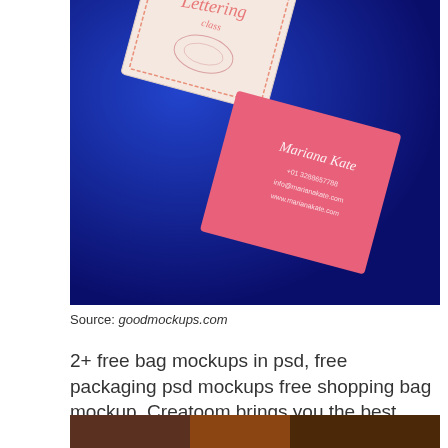[Figure (photo): Two business cards on a blue background. One is white with decorative lettering script design, the other is pink/salmon colored with 'Mariana Kate' name and contact details in white script text.]
Source: goodmockups.com
2+ free bag mockups in psd, free packaging psd mockups free shopping bag mockup. Creatoom brings you the best free and premium mock ups psd for branding, advertising and graphic design!
[Figure (photo): Partial view of another photo at the bottom of the page, partially cut off.]